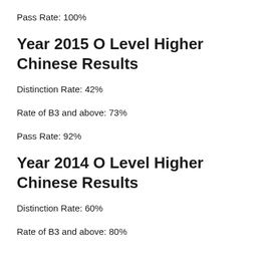Pass Rate: 100%
Year 2015 O Level Higher Chinese Results
Distinction Rate: 42%
Rate of B3 and above: 73%
Pass Rate: 92%
Year 2014 O Level Higher Chinese Results
Distinction Rate: 60%
Rate of B3 and above: 80%